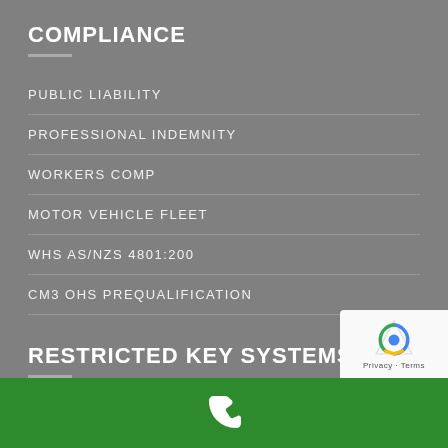COMPLIANCE
PUBLIC LIABILITY
PROFESSIONAL INDEMNITY
WORKERS COMP
MOTOR VEHICLE FLEET
WHS AS/NZS 4801:200
CM3 OHS PREQUALIFICATION
RESTRICTED KEY SYSTEMS
RESTRICTED KEY – ORDER FORM
RESTRICTED CYLINDER – ORDER FORM
[Figure (other): Green footer bar with white phone icon and reCAPTCHA badge in bottom-right corner]